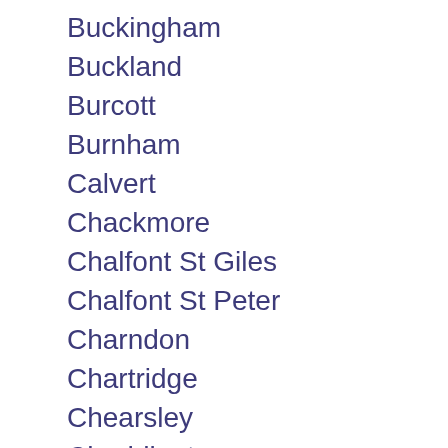Buckingham
Buckland
Burcott
Burnham
Calvert
Chackmore
Chalfont St Giles
Chalfont St Peter
Charndon
Chartridge
Chearsley
Cheddington
Chenies
Chesham
Chetwode